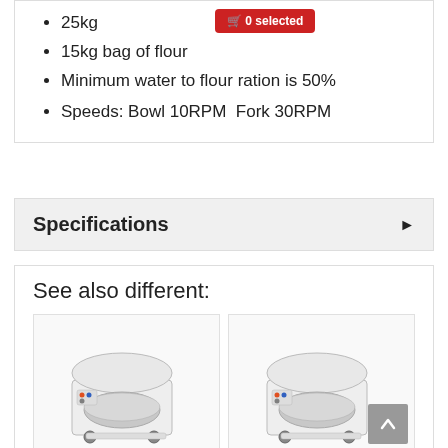25kg [0 selected button] n
15kg bag of flour
Minimum water to flour ration is 50%
Speeds: Bowl 10RPM  Fork 30RPM
Specifications
See also different:
[Figure (photo): Commercial spiral dough mixer, white body with stainless steel bowl, on wheels]
[Figure (photo): Commercial spiral dough mixer, white body with stainless steel bowl, on wheels (similar model)]